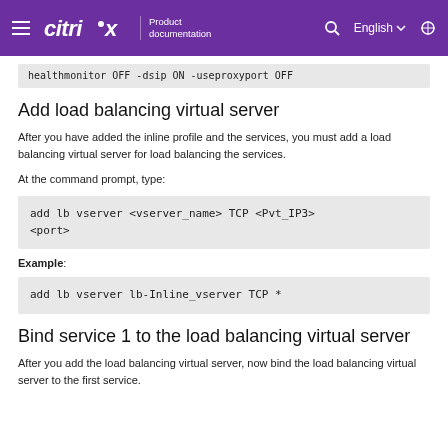Citrix Product documentation | English
healthmonitor OFF -dsip ON -useproxyport OFF
Add load balancing virtual server
After you have added the inline profile and the services, you must add a load balancing virtual server for load balancing the services.
At the command prompt, type:
add lb vserver <vserver_name> TCP <Pvt_IP3> <port>
Example:
add lb vserver lb-Inline_vserver TCP *
Bind service 1 to the load balancing virtual server
After you add the load balancing virtual server, now bind the load balancing virtual server to the first service.